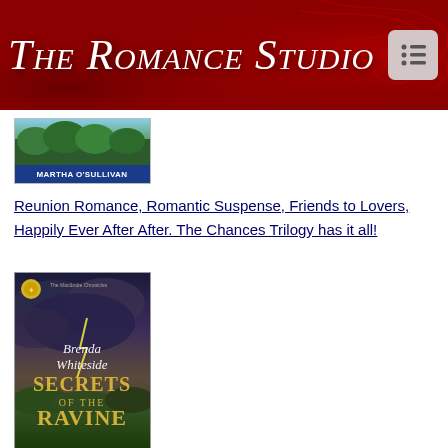The Romance Studio
[Figure (photo): Book cover for Martha O'Sullivan with green forest background and blue author name bar]
Reunion Romance, Romantic Suspense, Friends to Lovers, Happily Ever After After. The Chances Trilogy has it all!
[Figure (photo): Book cover: Secrets of the Ravine by Brenda Whiteside, stormy sky with lightning, dramatic landscape]
Lies can haunt, but the truth will kill.
[Figure (photo): Book cover with a warm interior bar/restaurant scene]